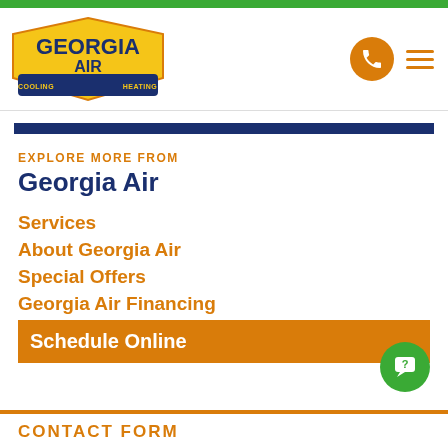[Figure (logo): Georgia Air Cooling & Heating logo with yellow sunburst, dark blue text on a shield/badge shape]
Services
About Georgia Air
Special Offers
Georgia Air Financing
Schedule Online
CONTACT FORM